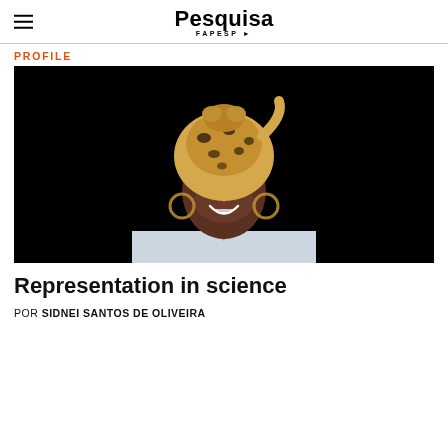Pesquisa FAPESP
PROFILE
[Figure (photo): Portrait photo of a smiling Black woman wearing a leopard-print head wrap and a white lab coat with a lab coat collar, against a dark/black background.]
Representation in science
POR SIDNEI SANTOS DE OLIVEIRA